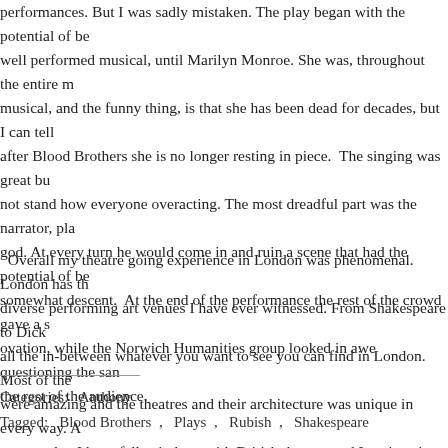performances. But I was sadly mistaken. The play began with the potential of being a well performed musical, until Marilyn Monroe. She was, throughout the entire musical, and the funny thing, is that she has been dead for decades, but I can tell after Blood Brothers she is no longer resting in piece. The singing was great but I could not stand how everyone overacting. The most dreadful part was the narrator, playing god. At every turn he would come in and ruin a scene that had the potential of being somewhat descent. At the end of the performance the rest of the crowd gave a standing ovation, while the Norwich Humanities group looked in awe questioning the sanity of the rest of the audience.
Overall my theatre going experience in London was phenomenal. London has the most diverse performing art venues I have ever witnessed. From Shakespeare to Dickens and all the in-between whatever you want to see you can find in London. Most of the shows were amazing and the theatres and their architecture was unique in every way. All I can say that I have fallen in love with British theatre, and I can't wait to return.
Categories:  Anthony
Tagged:  Blood Brothers ,  Plays ,  Rubish ,  Shakespeare